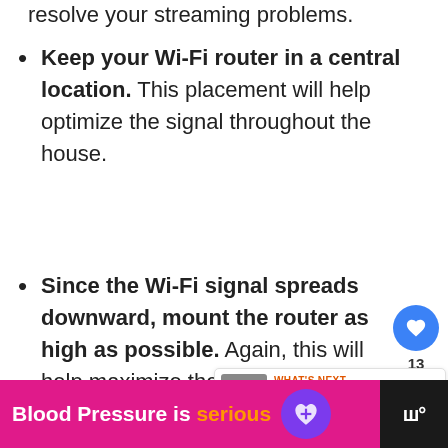resolve your streaming problems.
Keep your Wi-Fi router in a central location. This placement will help optimize the signal throughout the house.
Since the Wi-Fi signal spreads downward, mount the router as high as possible. Again, this will help maximize the coverage.
[Figure (screenshot): Social sidebar with heart/like button showing count 13, and a share button]
[Figure (screenshot): What's Next panel: arrow label, thumbnail image, text 'Why Is the Alexa App S...']
[Figure (screenshot): Carousel dot indicators (three dots)]
[Figure (infographic): Advertisement banner: pink background with text 'Blood Pressure is serious' with orange word 'serious', purple heart icon, and black section with logo]